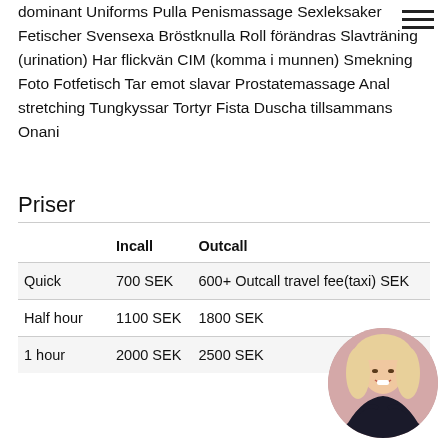dominant Uniforms Pulla Penismassage Sexleksaker Fetischer Svensexa Bröstknulla Roll förändras Slavträning (urination) Har flickvän CIM (komma i munnen) Smekning Foto Fotfetisch Tar emot slavar Prostatemassage Anal stretching Tungkyssar Tortyr Fista Duscha tillsammans Onani
Priser
|  | Incall | Outcall |
| --- | --- | --- |
| Quick | 700 SEK | 600+ Outcall travel fee(taxi) SEK |
| Half hour | 1100 SEK | 1800 SEK |
| 1 hour | 2000 SEK | 2500 SEK |
[Figure (photo): Circular profile photo of a blonde woman in black lingerie, smiling]